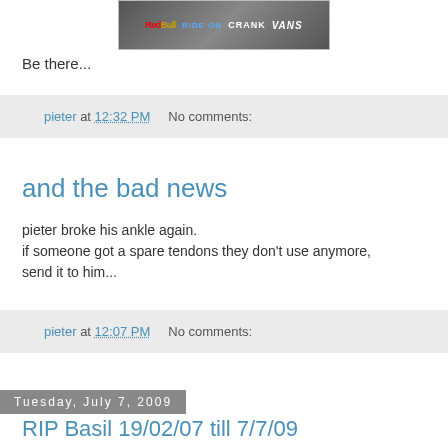[Figure (photo): Event banner showing Red Bull, Ride On, Crank, and Vans sponsor logos with action sports imagery]
Be there...
pieter at 12:32 PM   No comments:
and the bad news
pieter broke his ankle again.
if someone got a spare tendons they don't use anymore, send it to him...
pieter at 12:07 PM   No comments:
Tuesday, July 7, 2009
RIP Basil 19/02/07 till 7/7/09